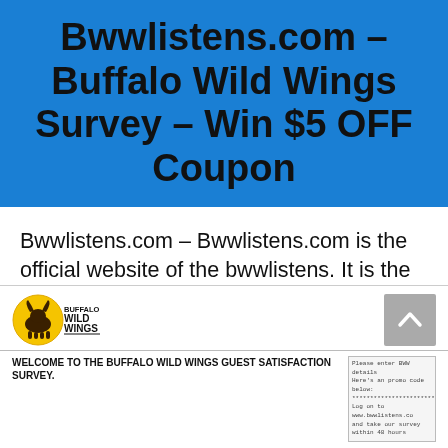Bwwlistens.com – Buffalo Wild Wings Survey – Win $5 OFF Coupon
Bwwlistens.com – Bwwlistens.com is the official website of the bwwlistens. It is the customer satisfaction survey conducted by the Buffalo Wild Wings (BWW) restaurant.
[Figure (logo): Buffalo Wild Wings logo — yellow circular logo with buffalo silhouette, text BUFFALO WILD WINGS]
[Figure (screenshot): Partial screenshot of the Buffalo Wild Wings guest satisfaction survey welcome page with receipt details]